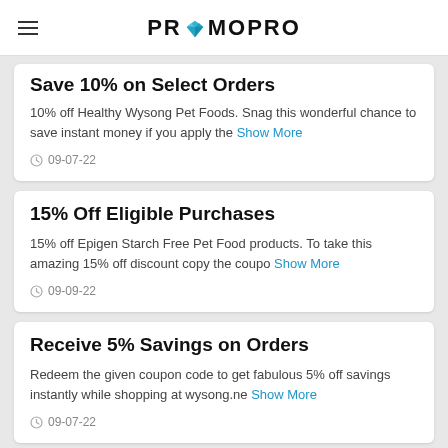PROMOPRO
Save 10% on Select Orders
10% off Healthy Wysong Pet Foods. Snag this wonderful chance to save instant money if you apply the Show More
09-07-22
15% Off Eligible Purchases
15% off Epigen Starch Free Pet Food products. To take this amazing 15% off discount copy the coupon Show More
09-09-22
Receive 5% Savings on Orders
Redeem the given coupon code to get fabulous 5% off savings instantly while shopping at wysong.net Show More
09-07-22